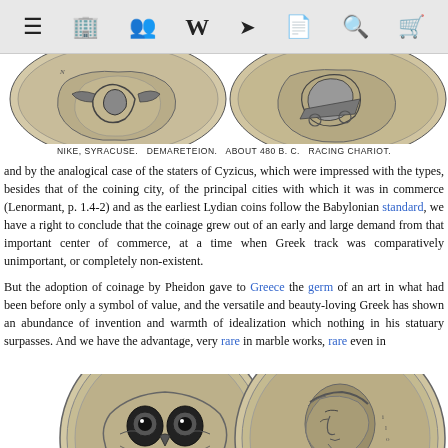Toolbar with navigation icons
[Figure (photo): Two ancient Greek coins shown from above: Nike Syracuse Demareteion coin on left, and Racing Chariot coin on right]
NIKE, SYRACUSE.  DEMARETEION.  ABOUT 480 B. C.  RACING CHARIOT.
and by the analogical case of the staters of Cyzicus, which were impressed with the types, besides that of the coining city, of the principal cities with which it was in commerce (Lenormant, p. 1.4-2) and as the earliest Lydian coins follow the Babylonian standard, we have a right to conclude that the coinage grew out of an early and large demand from that important center of commerce, at a time when Greek track was comparatively unimportant, or completely non-existent.
But the adoption of coinage by Pheidon gave to Greece the germ of an art in what had been before only a symbol of value, and the versatile and beauty-loving Greek has shown an abundance of invention and warmth of idealization which nothing in his statuary surpasses. And we have the advantage, very rare in marble works, rare even in
[Figure (photo): Two large ancient Greek coins: left coin shows an owl face (Athens), right coin shows a profile of a figure]